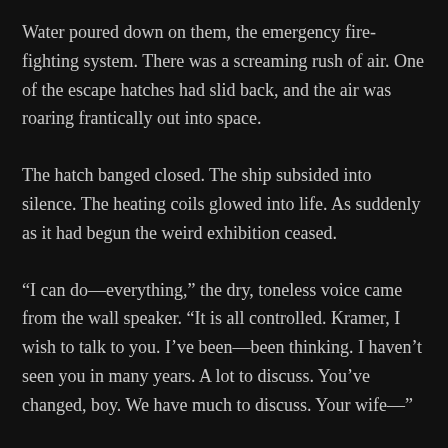Water poured down on them, the emergency fire-fighting system. There was a screaming rush of air. One of the escape hatches had slid back, and the air was roaring frantically out into space.
The hatch banged closed. The ship subsided into silence. The heating coils glowed into life. As suddenly as it had begun the weird exhibition ceased.
“I can do—everything,” the dry, toneless voice came from the wall speaker. “It is all controlled. Kramer, I wish to talk to you. I’ve been—been thinking. I haven’t seen you in many years. A lot to discuss. You’ve changed, boy. We have much to discuss. Your wife—”